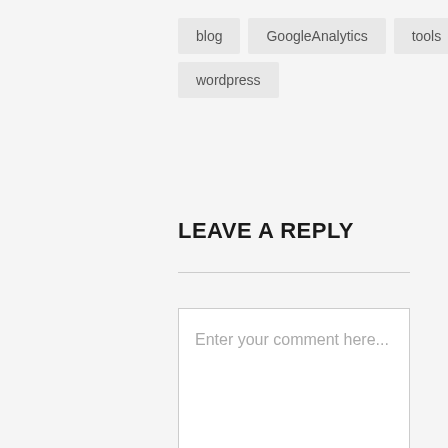blog
GoogleAnalytics
tools
wordpress
LEAVE A REPLY
Enter your comment here...